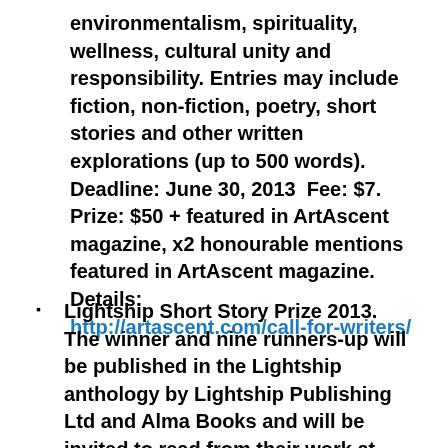environmentalism, spirituality, wellness, cultural unity and responsibility. Entries may include fiction, non-fiction, poetry, short stories and other written explorations (up to 500 words). Deadline: June 30, 2013  Fee: $7. Prize: $50 + featured in ArtAscent magazine, x2 honourable mentions featured in ArtAscent magazine. Details: http://artascent.com/call-for-writers/
Lightship Short Story Prize 2013. The winner and nine runners-up will be published in the Lightship anthology by Lightship Publishing Ltd and Alma Books and will be invited to read from their work at